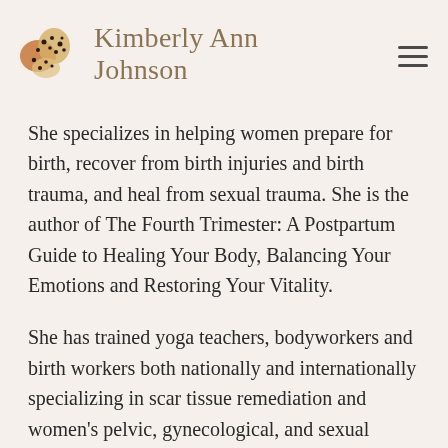Kimberly Ann Johnson
She specializes in helping women prepare for birth, recover from birth injuries and birth trauma, and heal from sexual trauma. She is the author of The Fourth Trimester: A Postpartum Guide to Healing Your Body, Balancing Your Emotions and Restoring Your Vitality.
She has trained yoga teachers, bodyworkers and birth workers both nationally and internationally specializing in scar tissue remediation and women's pelvic, gynecological, and sexual health.